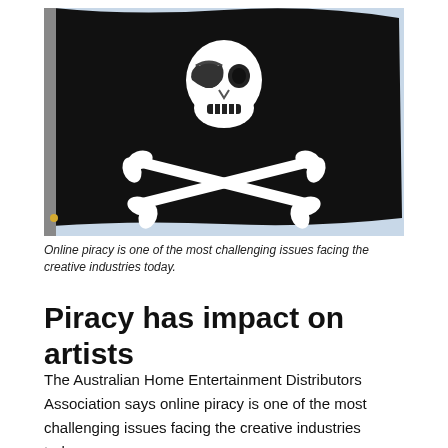[Figure (photo): A Jolly Roger pirate flag (black flag with white skull and crossbones) waving against a light blue sky background.]
Online piracy is one of the most challenging issues facing the creative industries today.
Piracy has impact on artists
The Australian Home Entertainment Distributors Association says online piracy is one of the most challenging issues facing the creative industries today.